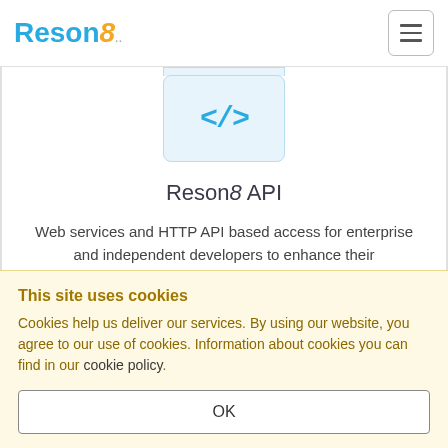Reson8
[Figure (illustration): A light blue rounded rectangle icon containing a code symbol </> in blue, representing an API or developer tool]
Reson8 API
Web services and HTTP API based access for enterprise and independent developers to enhance their applications with SMS messaging.
This site uses cookies
Cookies help us deliver our services. By using our website, you agree to our use of cookies. Information about cookies you can find in our cookie policy.
OK